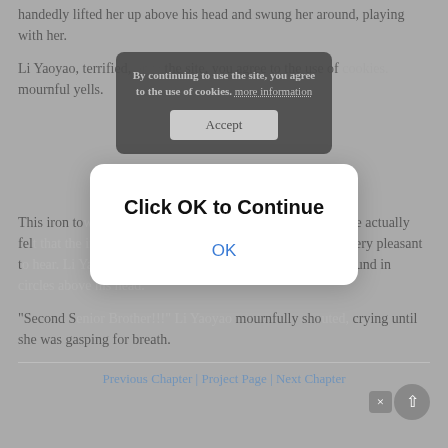handedly lifted her up above his head and swung her around, playing with her.
Li Yaoyao, terrified, once the site, you agree to the use of cookies. more information — mournful yells.
[Figure (screenshot): Dark cookie consent popup with text: 'By continuing to use the site, you agree to the use of cookies. more information' and an Accept button.]
This iron tower-like strong man seemed to have evil tastes, he actually felt that the incessant mournful yells from Li Yaoyao were very pleasant to hear. Li Yaoyao treats Li Yaoyao's body rope to swing around in circles above his head.
[Figure (screenshot): Modal dialog with bold text 'Click OK to Continue' and a blue 'OK' link.]
"Second Senior Brother!!!" Li Yaoyao mournfully shouted, crying until she was gasping for breath.
Previous Chapter | Project Page | Next Chapter